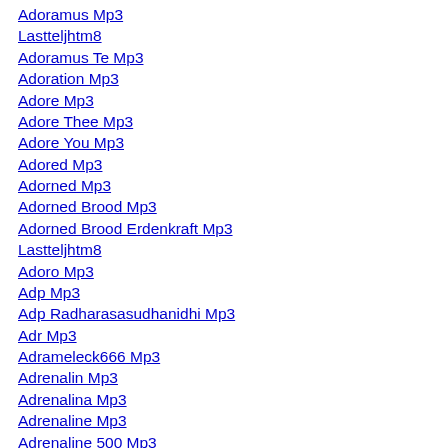Adoramus Mp3
Lastteljhtm8
Adoramus Te Mp3
Adoration Mp3
Adore Mp3
Adore Thee Mp3
Adore You Mp3
Adored Mp3
Adorned Mp3
Adorned Brood Mp3
Adorned Brood Erdenkraft Mp3
Lastteljhtm8
Adoro Mp3
Adp Mp3
Adp Radharasasudhanidhi Mp3
Adr Mp3
Adrameleck666 Mp3
Adrenalin Mp3
Adrenalina Mp3
Adrenaline Mp3
Adrenaline 500 Mp3
Lastteljhtm8
Adrenaline 500 Mg Mp3
Adrenaline500mg Mp3
Adresa Mp3